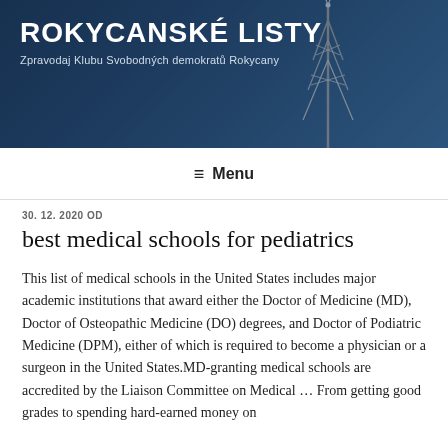ROKYCANSKÉ LISTY
Zpravodaj Klubu Svobodných demokratů Rokycany
≡ Menu
30. 12. 2020 OD
best medical schools for pediatrics
This list of medical schools in the United States includes major academic institutions that award either the Doctor of Medicine (MD), Doctor of Osteopathic Medicine (DO) degrees, and Doctor of Podiatric Medicine (DPM), either of which is required to become a physician or a surgeon in the United States.MD-granting medical schools are accredited by the Liaison Committee on Medical … From getting good grades to spending hard-earned money on